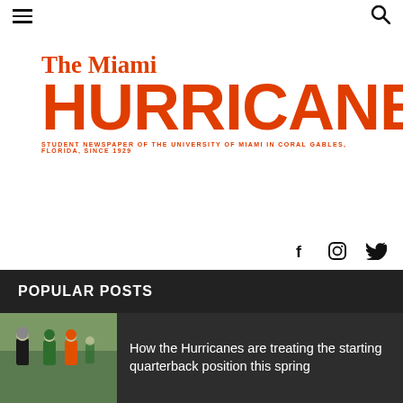Navigation menu and search icon
The Miami HURRICANE
STUDENT NEWSPAPER OF THE UNIVERSITY OF MIAMI IN CORAL GABLES, FLORIDA, SINCE 1929
[Figure (infographic): Social media icons: Facebook (f), Instagram, Twitter]
POPULAR POSTS
[Figure (photo): Football players on a practice field, Hurricanes spring practice]
How the Hurricanes are treating the starting quarterback position this spring